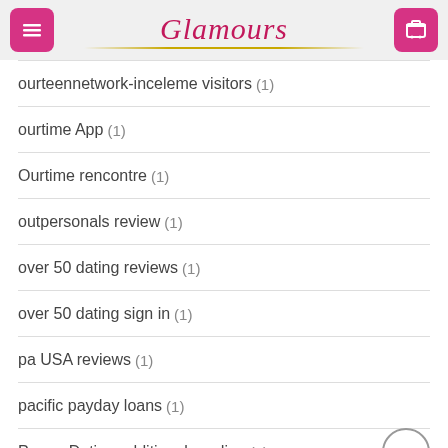Glamours
ourteennetwork-inceleme visitors (1)
ourtime App (1)
Ourtime rencontre (1)
outpersonals review (1)
over 50 dating reviews (1)
over 50 dating sign in (1)
pa USA reviews (1)
pacific payday loans (1)
Pagan Dating additional reading (1)
paltalk review (1)